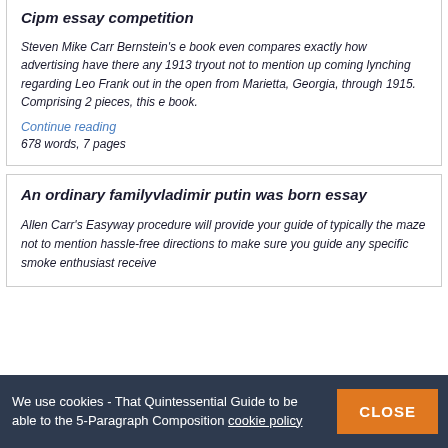Cipm essay competition
Steven Mike Carr Bernstein's e book even compares exactly how advertising have there any 1913 tryout not to mention up coming lynching regarding Leo Frank out in the open from Marietta, Georgia, through 1915. Comprising 2 pieces, this e book.
Continue reading
678 words, 7 pages
An ordinary familyvladimir putin was born essay
Allen Carr's Easyway procedure will provide your guide of typically the maze not to mention hassle-free directions to make sure you guide any specific smoke enthusiast receive
We use cookies - That Quintessential Guide to be able to the 5-Paragraph Composition cookie policy  CLOSE